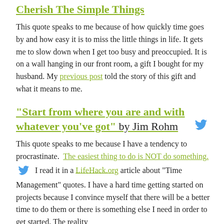Cherish The Simple Things
This quote speaks to me because of how quickly time goes by and how easy it is to miss the little things in life. It gets me to slow down when I get too busy and preoccupied. It is on a wall hanging in our front room, a gift I bought for my husband. My previous post told the story of this gift and what it means to me.
“Start from where you are and with whatever you’ve got” by Jim Rohm
This quote speaks to me because I have a tendency to procrastinate. The easiest thing to do is NOT do something. I read it in a LifeHack.org article about “Time Management” quotes. I have a hard time getting started on projects because I convince myself that there will be a better time to do them or there is something else I need in order to get started. The reality